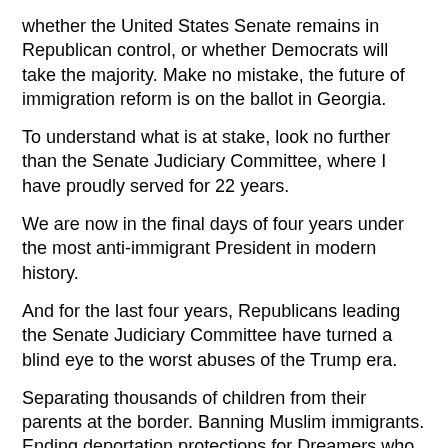whether the United States Senate remains in Republican control, or whether Democrats will take the majority.  Make no mistake, the future of immigration reform is on the ballot in Georgia.
To understand what is at stake, look no further than the Senate Judiciary Committee, where I have proudly served for 22 years.
We are now in the final days of four years under the most anti-immigrant President in modern history.
And for the last four years, Republicans leading the Senate Judiciary Committee have turned a blind eye to the worst abuses of the Trump era.
Separating thousands of children from their parents at the border.  Banning Muslim immigrants.  Ending deportation protections for Dreamers who know no home other than America.  Dropping refugee numbers to record lows in the midst of the worst refugee crisis in history.
The Judiciary Committee traditionally holds an important